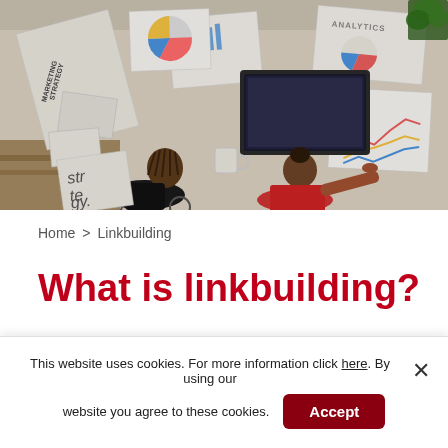[Figure (photo): Overhead view of two people working at a table covered with marketing strategy documents, charts, and a laptop. One person has braided hair and is in a wheelchair; the other wears a red top.]
Home > Linkbuilding
What is linkbuilding?
This website uses cookies. For more information click here. By using our website you agree to these cookies. Accept